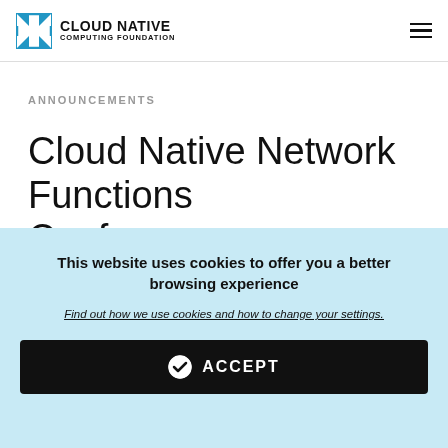CLOUD NATIVE COMPUTING FOUNDATION
ANNOUNCEMENTS
Cloud Native Network Functions Conformance
This website uses cookies to offer you a better browsing experience
Find out how we use cookies and how to change your settings.
ACCEPT